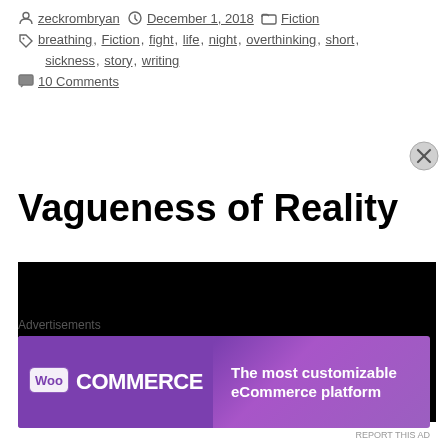zeckrombryan  December 1, 2018  Fiction
breathing, Fiction, fight, life, night, overthinking, short, sickness, story, writing
10 Comments
Vagueness of Reality
[Figure (photo): Dark night sky photo with a single bright glowing point of light (moon or star) near the bottom center against a completely black background]
Advertisements
[Figure (illustration): WooCommerce advertisement banner with purple gradient background. WooCommerce logo on the left and text 'The most customizable eCommerce platform' on the right.]